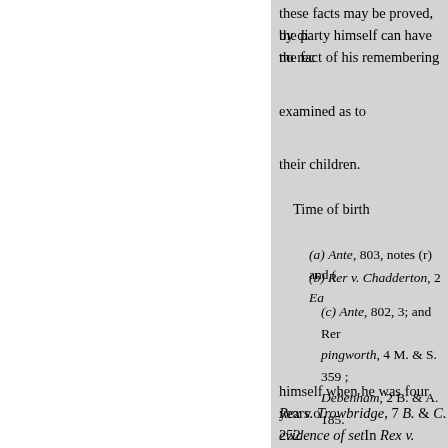these facts may be proved, by di
the party himself can have no rec
the fact of his remembering
examined as to
their children.
Time of birth
(a) Ante, 803, notes (r) and (
(b) Rer v. Chadderton, 2 Ea
(c) Ante, 802, 3; and Rer pingworth, 4 M. & S. 359 ; Debenham, 2 B. & A. 185.
himself when he was four years o
Rex v. Trowbridge, 7 B. & C. 252
evidence of setIn Rex v. Erith, 8 E